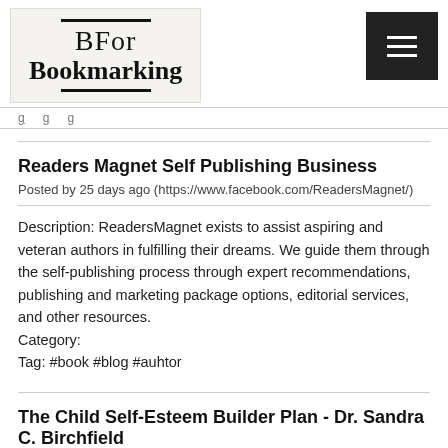[Figure (logo): BFor Bookmarking logo in a beige/light gray box with decorative bars above and below the text]
Navigation bar with links
Readers Magnet Self Publishing Business
Posted by 25 days ago (https://www.facebook.com/ReadersMagnet/)
Description: ReadersMagnet exists to assist aspiring and veteran authors in fulfilling their dreams. We guide them through the self-publishing process through expert recommendations, publishing and marketing package options, editorial services, and other resources.
Category:
Tag: #book #blog #auhtor
The Child Self-Esteem Builder Plan - Dr. Sandra C. Birchfield
Posted by 29 days ago (https://www.sandrachapmanbirchfield.com/the-